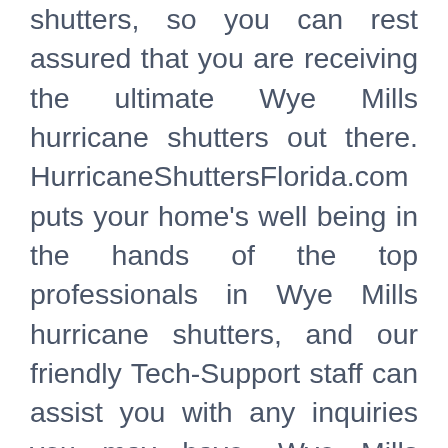shutters, so you can rest assured that you are receiving the ultimate Wye Mills hurricane shutters out there. HurricaneShuttersFlorida.com puts your home's well being in the hands of the top professionals in Wye Mills hurricane shutters, and our friendly Tech-Support staff can assist you with any inquiries you may have. Wye Mills hurricane shutters can protect your home and family from extreme winds, flying debris, and even intruders, so when you're home is at its most vulnerable and you need hurricane protection, you can trust us. If you want to know exactly how much your Wye Mills hurricane shutters for your home will cost, just choose the storm windows that best suit you and check out